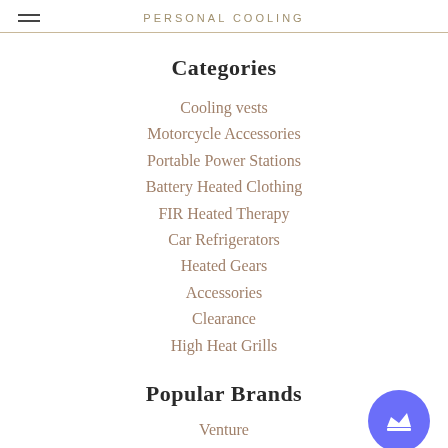PERSONAL COOLING
Categories
Cooling vests
Motorcycle Accessories
Portable Power Stations
Battery Heated Clothing
FIR Heated Therapy
Car Refrigerators
Heated Gears
Accessories
Clearance
High Heat Grills
Popular Brands
Venture
Compcooler